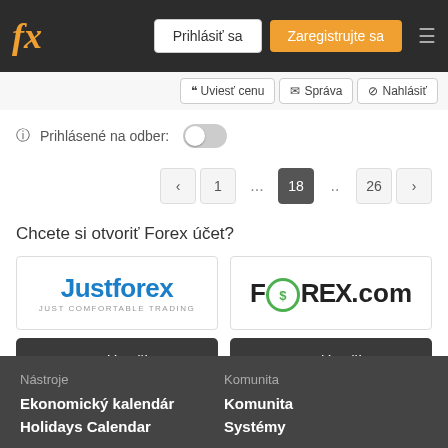fx | Prihlásiť sa | Zaregistrujte sa
❝ Uviesť cenu   ✉ Správa   ⊘ Nahlásiť
Prihlásené na odber:
< 1 ... 18 .. 26 >
Chcete si otvoriť Forex účet?
[Figure (logo): JustForex logo - blue text with tagline JUST COMFORTABLE TRADING]
[Figure (logo): FOREX.com logo - black bold text with green circle O]
Otvoriť naživo
Otvoriť naživo
Nástroje | Komunita | Ekonomický kalendár | Komunita | Holidays Calendar | Systémy